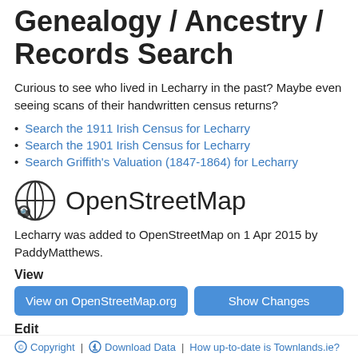Genealogy / Ancestry / Records Search
Curious to see who lived in Lecharry in the past? Maybe even seeing scans of their handwritten census returns?
Search the 1911 Irish Census for Lecharry
Search the 1901 Irish Census for Lecharry
Search Griffith's Valuation (1847-1864) for Lecharry
OpenStreetMap
Lecharry was added to OpenStreetMap on 1 Apr 2015 by PaddyMatthews.
View
View on OpenStreetMap.org | Show Changes
Edit
JOSM | iD | Potlatch | Level0
© Copyright | ⬇ Download Data | How up-to-date is Townlands.ie?